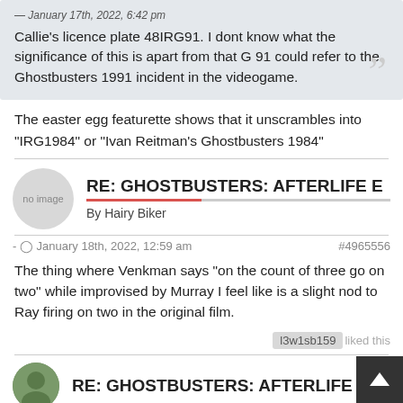January 17th, 2022, 6:42 pm
Callie's licence plate 48IRG91. I dont know what the significance of this is apart from that G 91 could refer to the Ghostbusters 1991 incident in the videogame.
The easter egg featurette shows that it unscrambles into "IRG1984" or "Ivan Reitman's Ghostbusters 1984"
RE: GHOSTBUSTERS: AFTERLIFE E
By Hairy Biker
- January 18th, 2022, 12:59 am
#4965556
The thing where Venkman says "on the count of three go on two" while improvised by Murray I feel like is a slight nod to Ray firing on two in the original film.
l3w1sb159 liked this
RE: GHOSTBUSTERS: AFTERLIFE E